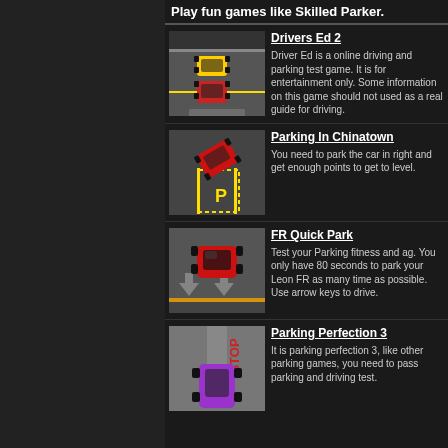Play fun games like Skilled Parker.
Drivers Ed 2
Driver Ed is a online driving and parking test game. It is for entertainment only. Some information on this game should not used as a real guide for driving.
Parking In Chinatown
You need to park the car in right and get enough points to get to level.
FR Quick Park
Test your Parking fitness and ag. You only have 80 seconds to park your Leon FR as many time as possible. Use arrow keys to drive.
Parking Perfection 3
It is parking perfection 3, like other parking games, you need to pass parking and driving test.